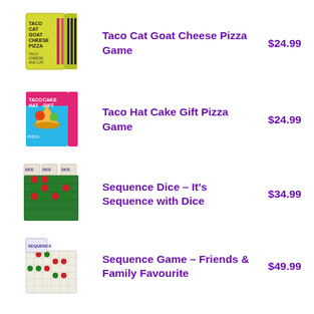[Figure (photo): Product image of Taco Cat Goat Cheese Pizza Game box - yellow/green box with black text]
Taco Cat Goat Cheese Pizza Game
$24.99
[Figure (photo): Product image of Taco Hat Cake Gift Pizza Game box - colorful blue/pink box]
Taco Hat Cake Gift Pizza Game
$24.99
[Figure (photo): Product image of Sequence Dice game - shows dice game board with red/green tokens]
Sequence Dice - It's Sequence with Dice
$34.99
[Figure (photo): Product image of Sequence Game board - shows game board with colored tokens and card box]
Sequence Game - Friends & Family Favourite
$49.99